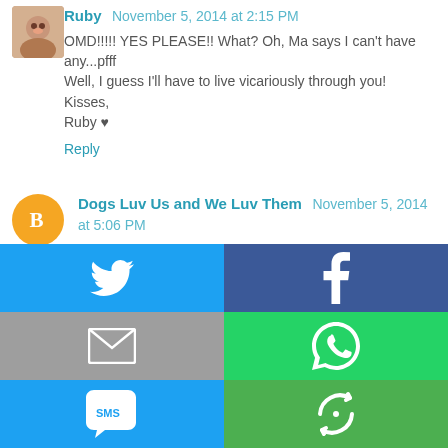Ruby  November 5, 2014 at 2:15 PM
OMD!!!!! YES PLEASE!! What? Oh, Ma says I can't have any...pfff
Well, I guess I'll have to live vicariously through you!
Kisses,
Ruby ♥
Reply
Dogs Luv Us and We Luv Them  November 5, 2014 at 5:06 PM
What a cute photo! I scream, U scream, we ALL scream for ICE c...
Love & Biscuits,
Cathy, Isis & Phoebe
www.dogsluvusandweluvthem.blogspot.com
Reply
[Figure (infographic): Social share buttons grid: Twitter (blue), Facebook (dark blue), Email/envelope (grey), WhatsApp (green), SMS (blue), rotating arrows icon (green)]